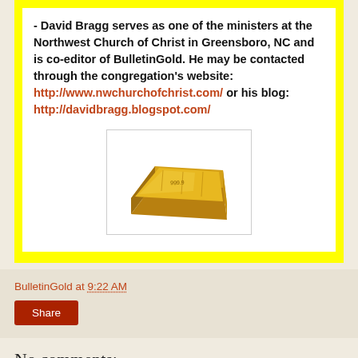- David Bragg serves as one of the ministers at the Northwest Church of Christ in Greensboro, NC and is co-editor of BulletinGold. He may be contacted through the congregation's website: http://www.nwchurchofchrist.com/ or his blog: http://davidbragg.blogspot.com/
[Figure (photo): A gold bar (bullion) photographed against a white background, oriented diagonally]
BulletinGold at 9:22 AM
Share
No comments: